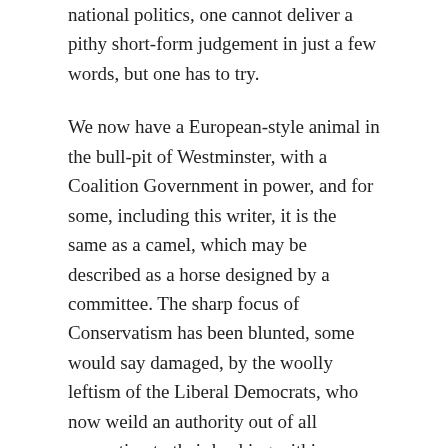national politics, one cannot deliver a pithy short-form judgement in just a few words, but one has to try.
We now have a European-style animal in the bull-pit of Westminster, with a Coalition Government in power, and for some, including this writer, it is the same as a camel, which may be described as a horse designed by a committee. The sharp focus of Conservatism has been blunted, some would say damaged, by the woolly leftism of the Liberal Democrats, who now weild an authority out of all proportion to their backing within Parliament, or even within the wider world of the electorate. With all due respect to Lib-Dem supporters, their type of politics, of a belief that all who govern should be given the benefit of the doubt at all times, of a ‘bent’ towards consensus and accomodation. Their apparatchiks, such as Jenny Tonge, the big-mouthed